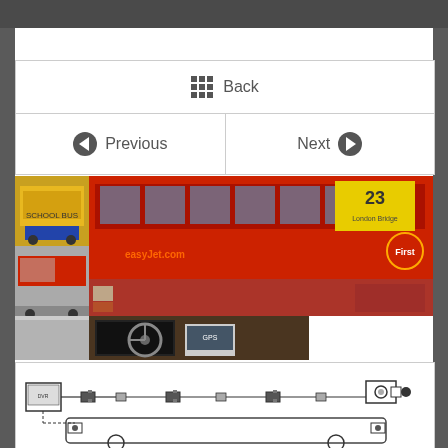Back
Previous
Next
[Figure (photo): Collage of bus and vehicle images including a yellow school bus, red double-decker London bus with easyJet branding (route 23, First bus company), interior dashboard view with navigation device, a transit bus on a street, and other bus-related photos.]
[Figure (engineering-diagram): Technical schematic diagram of a bus camera system showing cameras, cables, connectors, and a monitor display unit connected to a vehicle outline from a top-down perspective.]